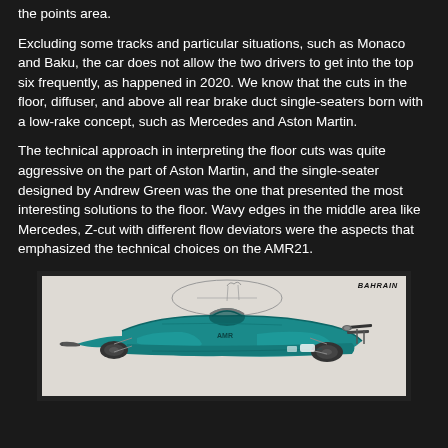the points area.
Excluding some tracks and particular situations, such as Monaco and Baku, the car does not allow the two drivers to get into the top six frequently, as happened in 2020. We know that the cuts in the floor, diffuser, and above all rear brake duct single-seaters born with a low-rake concept, such as Mercedes and Aston Martin.
The technical approach in interpreting the floor cuts was quite aggressive on the part of Aston Martin, and the single-seater designed by Andrew Green was the one that presented the most interesting solutions to the floor. Wavy edges in the middle area like Mercedes, Z-cut with different flow deviators were the aspects that emphasized the technical choices on the AMR21.
[Figure (illustration): Technical illustration of the Aston Martin AMR21 Formula 1 car from Bahrain, showing the underfloor and diffuser area in teal/green color with detailed bodywork components visible. 'BAHRAIN' label in top right corner.]